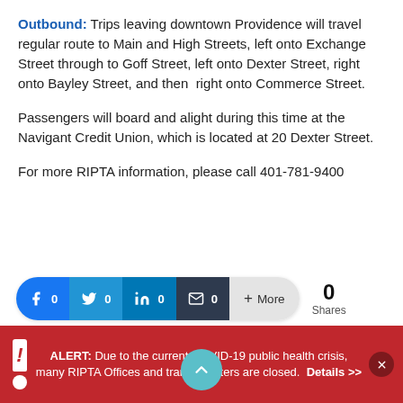Outbound: Trips leaving downtown Providence will travel regular route to Main and High Streets, left onto Exchange Street through to Goff Street, left onto Dexter Street, right onto Bayley Street, and then right onto Commerce Street.
Passengers will board and alight during this time at the Navigant Credit Union, which is located at 20 Dexter Street.
For more RIPTA information, please call 401-781-9400
[Figure (other): Social share bar with Facebook (0), Twitter (0), LinkedIn (0), Email (0), More buttons, and a total share count of 0 Shares]
[Figure (other): Teal circular scroll-up button with chevron arrow pointing upward]
ALERT: Due to the current COVID-19 public health crisis, many RIPTA Offices and transit centers are closed. Details >>